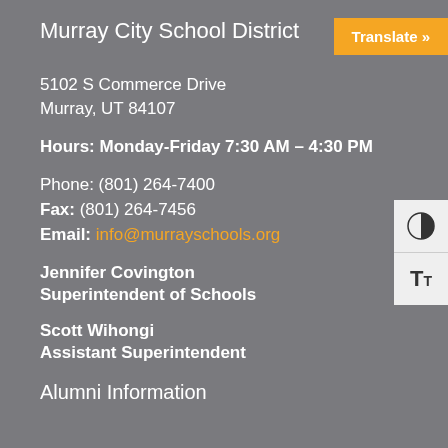Murray City School District
Translate »
5102 S Commerce Drive
Murray, UT 84107
Hours: Monday-Friday 7:30 AM – 4:30 PM
Phone: (801) 264-7400
Fax: (801) 264-7456
Email: info@murrayschools.org
Jennifer Covington
Superintendent of Schools
Scott Wihongi
Assistant Superintendent
Alumni Information